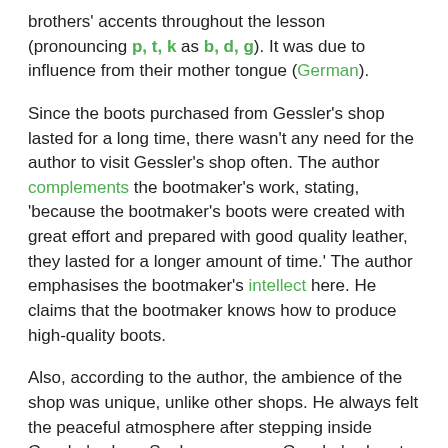brothers' accents throughout the lesson (pronouncing p, t, k as b, d, g). It was due to influence from their mother tongue (German).
Since the boots purchased from Gessler's shop lasted for a long time, there wasn't any need for the author to visit Gessler's shop often. The author complements the bootmaker's work, stating, 'because the bootmaker's boots were created with great effort and prepared with good quality leather, they lasted for a longer amount of time.' The author emphasises the bootmaker's intellect here. He claims that the bootmaker knows how to produce high-quality boots.
Also, according to the author, the ambience of the shop was unique, unlike other shops. He always felt the peaceful atmosphere after stepping inside Gessler's shop. So, he compares Gessler's shop to that of the church as he thought it provided peace to a person while visiting at the